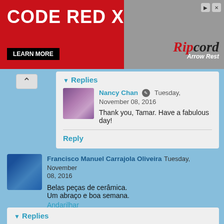[Figure (screenshot): Advertisement banner for CODE RED X Ripcord Arrow Rest with red and gray background, LEARN MORE button]
Replies
Nancy Chan   Tuesday, November 08, 2016
Thank you, Tamar. Have a fabulous day!
Reply
Francisco Manuel Carrajola Oliveira  Tuesday, November 08, 2016
Belas peças de cerâmica.
Um abraço e boa semana.
Andarilhar
Reply
Replies